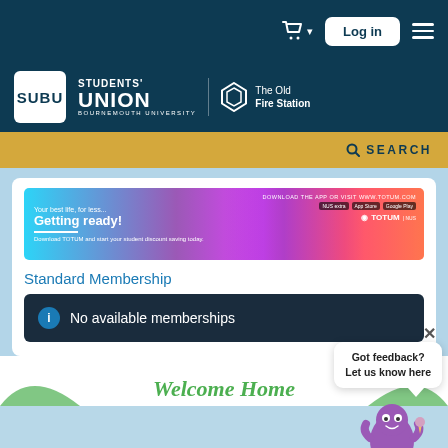Log in
[Figure (logo): SUBU Students' Union Bournemouth University logo with The Old Fire Station logo]
SEARCH
[Figure (photo): TOTUM student discount app banner: 'Your best life, for less... Getting ready! Download TOTUM and start your student discount saving today.']
Standard Membership
No available memberships
Got feedback? Let us know here
[Figure (illustration): SimOn purple robot mascot character]
Welcome Home